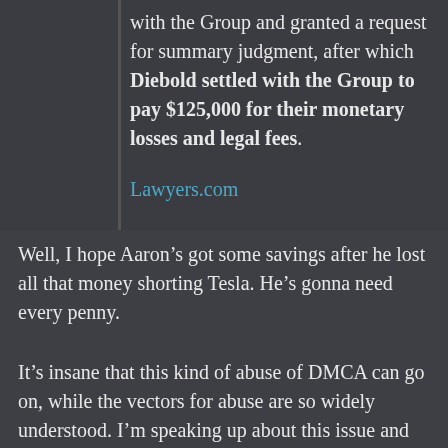with the Group and granted a request for summary judgment, after which Diebold settled with the Group to pay $125,000 for their monetary losses and legal fees.
Lawyers.com
Well, I hope Aaron’s got some savings after he lost all that money shorting Tesla. He’s gonna need every penny.
It’s insane that this kind of abuse of DMCA can go on, while the vectors for abuse are so widely understood. I’m speaking up about this issue and